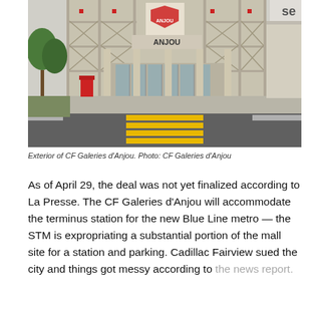[Figure (photo): Exterior of CF Galeries d'Anjou shopping mall. Shows the main entrance with glass doors, a decorative facade with X patterns and red squares, a red Canada Post mailbox, trees, and a pedestrian crosswalk with yellow stripes in the foreground.]
Exterior of CF Galeries d'Anjou. Photo: CF Galeries d'Anjou
As of April 29, the deal was not yet finalized according to La Presse. The CF Galeries d'Anjou will accommodate the terminus station for the new Blue Line metro — the STM is expropriating a substantial portion of the mall site for a station and parking. Cadillac Fairview sued the city and things got messy according to the news report.